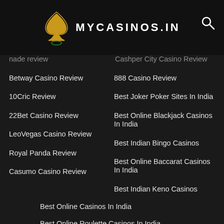MYCASINOS.IN
nade review
Cashper City Casino Review
Betway Casino Review
888 Casino Review
10Cric Review
Best Joker Poker Sites In India
22Bet Casino Review
Best Online Blackjack Casinos In India
LeoVegas Casino Review
Best Indian Bingo Casinos
Royal Panda Review
Best Online Baccarat Casinos In India
Casumo Casino Review
Best Indian Keno Casinos
Best Online Casinos In India
Best Online Roulette Casinos In India
Video Poker Games
Mobile Casino
Skrill Casinos
Pure Casino Review
Online Casino Bonuses